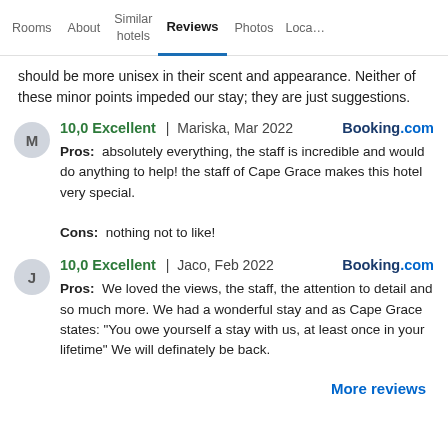Rooms | About | Similar hotels | Reviews | Photos | Loca…
should be more unisex in their scent and appearance. Neither of these minor points impeded our stay; they are just suggestions.
10,0 Excellent | Mariska, Mar 2022   Booking.com
Pros: absolutely everything, the staff is incredible and would do anything to help! the staff of Cape Grace makes this hotel very special.
Cons: nothing not to like!
10,0 Excellent | Jaco, Feb 2022   Booking.com
Pros: We loved the views, the staff, the attention to detail and so much more. We had a wonderful stay and as Cape Grace states: "You owe yourself a stay with us, at least once in your lifetime" We will definately be back.
More reviews